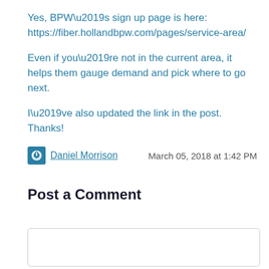Yes, BPW’s sign up page is here: https://fiber.hollandbpw.com/pages/service-area/
Even if you’re not in the current area, it helps them gauge demand and pick where to go next.
I’ve also updated the link in the post. Thanks!
Daniel Morrison   March 05, 2018 at 1:42 PM
Post a Comment